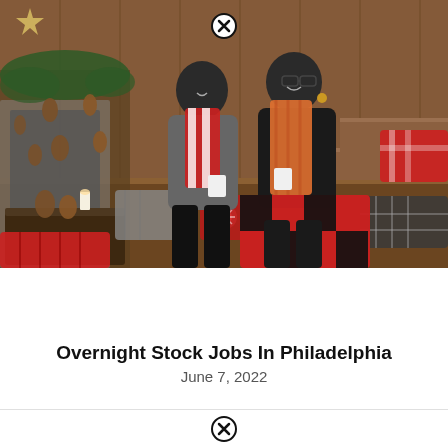[Figure (photo): A couple sitting together in a cozy Christmas cabin setting. The man wears a red and white striped scarf, the woman wears an orange plaid scarf. They are wrapped in a red and black buffalo check blanket. Holiday decorations including pine cones, pillows, garland, and a star are visible around them.]
Overnight Stock Jobs In Philadelphia
June 7, 2022